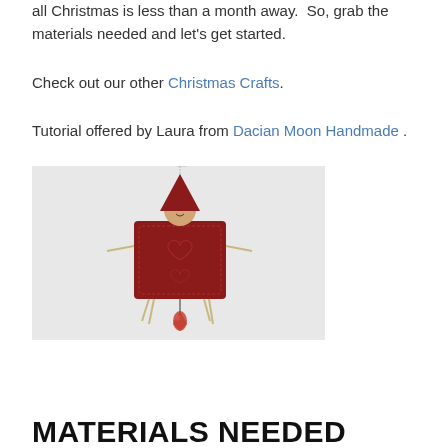all Christmas is less than a month away.  So, grab the materials needed and let’s get started.
Check out our other Christmas Crafts.
Tutorial offered by Laura from Dacian Moon Handmade .
[Figure (photo): A handmade Christmas ornament doll dressed in red, with a cone-shaped red hat, small painted face, red fabric body with stitching, and a red crystal drop pendant, hanging against a white textured background.]
MATERIALS NEEDED